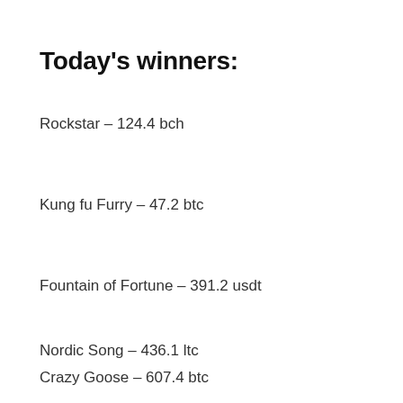Today's winners:
Rockstar – 124.4 bch
Kung fu Furry – 47.2 btc
Fountain of Fortune – 391.2 usdt
Nordic Song – 436.1 ltc
Crazy Goose – 607.4 btc